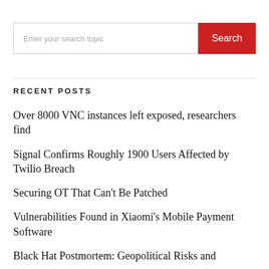[Figure (other): Search bar with text input placeholder 'Enter your search topic' and a red 'Search' button]
RECENT POSTS
Over 8000 VNC instances left exposed, researchers find
Signal Confirms Roughly 1900 Users Affected by Twilio Breach
Securing OT That Can’t Be Patched
Vulnerabilities Found in Xiaomi’s Mobile Payment Software
Black Hat Postmortem: Geopolitical Risks and